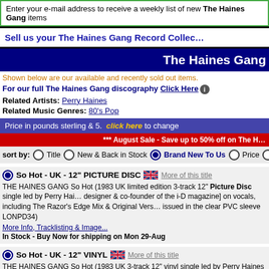Enter your e-mail address to receive a weekly list of new The Haines Gang items
Sell us your The Haines Gang Record Collec...
The Haines Gang
Shown below are our available and recently sold out items.
For our full The Haines Gang discography Click Here
Related Artists: Perry Haines
Related Music Genres: 80's Pop
Price in pounds sterling & 5. click here to change
*** August Sale - Save up to 50% off on The H...
sort by: Title | New & Back in Stock | Brand New To Us | Price
So Hot - UK - 12" PICTURE DISC  More of this title
THE HAINES GANG So Hot (1983 UK limited edition 3-track 12" Picture Disc single led by Perry Hai... designer & co-founder of the i-D magazine] on vocals, including The Razor's Edge Mix & Original Vers... issued in the clear PVC sleeve LONPD34)
More Info, Tracklisting & Image...
In Stock - Buy Now for shipping on Mon 29-Aug
So Hot - UK - 12" VINYL  More of this title
THE HAINES GANG So Hot (1983 UK 3-track 12" vinyl single led by Perry Haines on vocals, a British... co-founder of the i-D magazine, including the Razor's Edge Mix & Original version plus Close Shaves... cture sleeve LONX34)
More Info, Tracklisting & Image...
In Stock - Buy Now for shipping on Mon 29-Aug